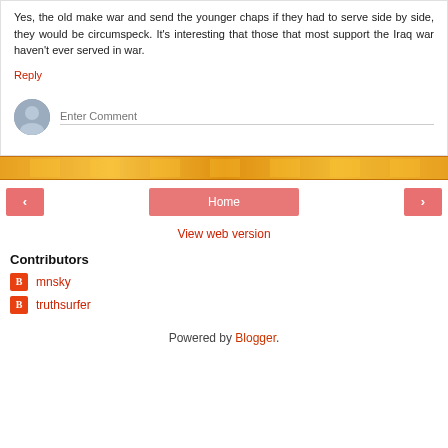Yes, the old make war and send the younger chaps if they had to serve side by side, they would be circumspeck. It's interesting that those that most support the Iraq war haven't ever served in war.
Reply
[Figure (illustration): Comment input area with user avatar and 'Enter Comment' placeholder text field]
[Figure (illustration): Decorative orange/yellow banner strip]
[Figure (illustration): Navigation row with left arrow button, Home button, and right arrow button]
View web version
Contributors
mnsky
truthsurfer
Powered by Blogger.